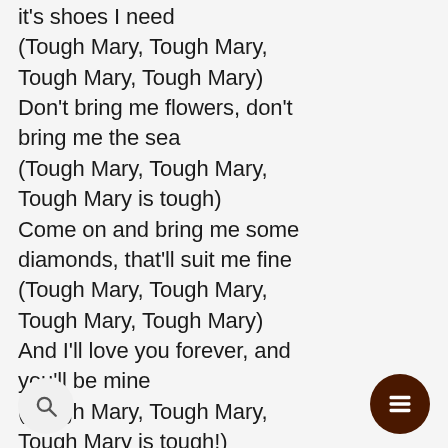it's shoes I need
(Tough Mary, Tough Mary, Tough Mary, Tough Mary)
Don't bring me flowers, don't bring me the sea
(Tough Mary, Tough Mary, Tough Mary is tough)
Come on and bring me some diamonds, that'll suit me fine
(Tough Mary, Tough Mary, Tough Mary, Tough Mary)
And I'll love you forever, and you'll be mine
(Tough Mary, Tough Mary, Tough Mary is tough!)